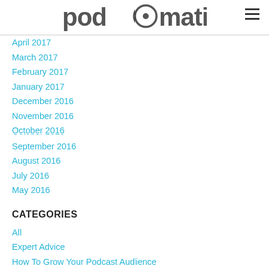podomatic
April 2017
March 2017
February 2017
January 2017
December 2016
November 2016
October 2016
September 2016
August 2016
July 2016
May 2016
CATEGORIES
All
Expert Advice
How To Grow Your Podcast Audience
How To Podcast